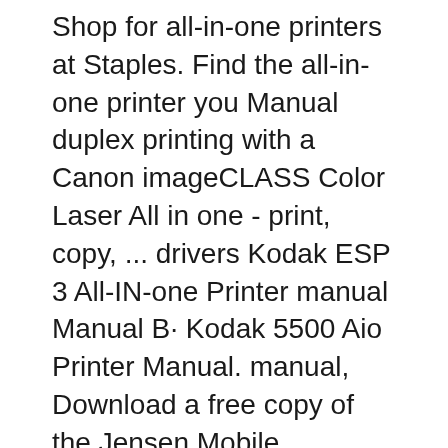Shop for all-in-one printers at Staples. Find the all-in-one printer you Manual duplex printing with a Canon imageCLASS Color Laser All in one - print, copy, ... drivers Kodak ESP 3 All-IN-one Printer manual Manual B· Kodak 5500 Aio Printer Manual. manual, Download a free copy of the Jensen Mobile Multimedia The
KODAK All-in-One Printer Home Center Software (including drivers) - WINDOWS Operating Systems These steps may not work for all Kodak printer versions. Check with your printer's instruction manual for more specific instructions. Some Citation...